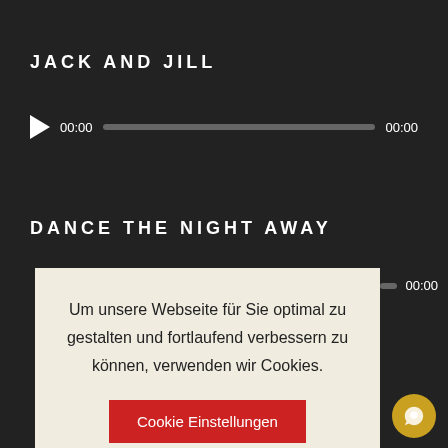JACK AND JILL
[Figure (screenshot): Audio player with play button, time display 00:00, progress bar, and end time 00:00]
DANCE THE NIGHT AWAY
[Figure (screenshot): Partial audio player with progress bar and time 00:00]
Um unsere Webseite für Sie optimal zu gestalten und fortlaufend verbessern zu können, verwenden wir Cookies.
Cookie Einstellungen
akzeptieren